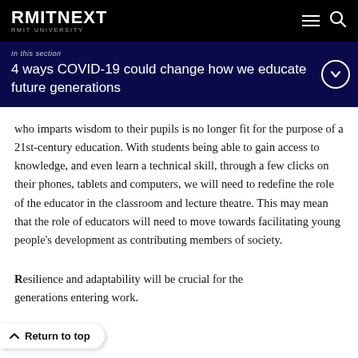RMITNEXT
In this section
4 ways COVID-19 could change how we educate future generations
who imparts wisdom to their pupils is no longer fit for the purpose of a 21st-century education. With students being able to gain access to knowledge, and even learn a technical skill, through a few clicks on their phones, tablets and computers, we will need to redefine the role of the educator in the classroom and lecture theatre. This may mean that the role of educators will need to move towards facilitating young people's development as contributing members of society.
Resilience and adaptability will be crucial for the generations entering work.